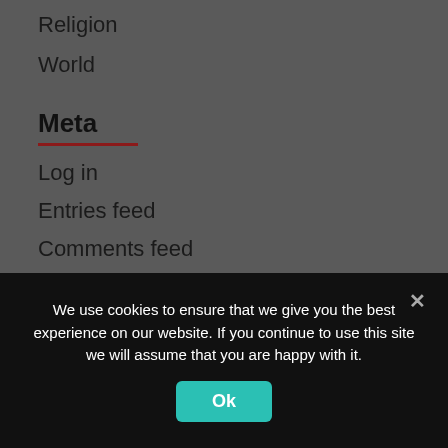Religion
World
Meta
Log in
Entries feed
Comments feed
WordPress.org
We use cookies to ensure that we give you the best experience on our website. If you continue to use this site we will assume that you are happy with it.